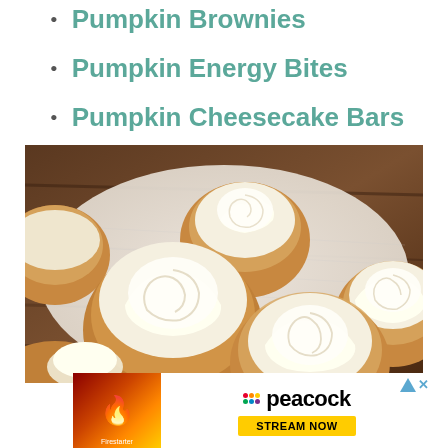Pumpkin Brownies
Pumpkin Energy Bites
Pumpkin Cheesecake Bars
[Figure (photo): Overhead close-up photo of multiple pumpkin cookies topped with swirled cream cheese frosting, arranged on a white linen cloth with a dark wooden background]
[Figure (other): Peacock streaming service advertisement with Firestarter movie promotion. Text reads: peacock | STREAM NOW. Firestarter label on left side with fire imagery.]